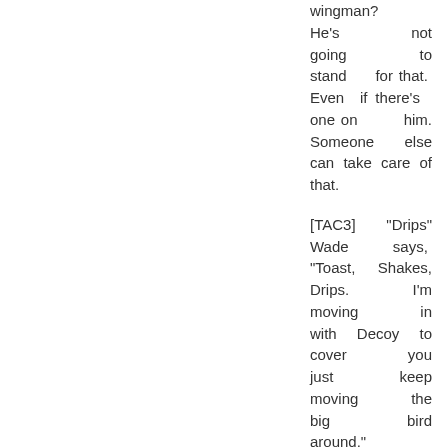wingman? He's not going to stand for that. Even if there's one on him. Someone else can take care of that.
[TAC3] "Drips" Wade says, "Toast, Shakes, Drips. I'm moving in with Decoy to cover you just keep moving the big bird around."
[Harrier-670: Leyla]. "You'll